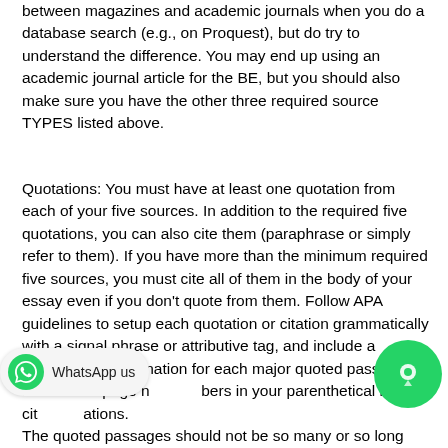between magazines and academic journals when you do a database search (e.g., on Proquest), but do try to understand the difference. You may end up using an academic journal article for the BE, but you should also make sure you have the other three required source TYPES listed above.
Quotations: You must have at least one quotation from each of your five sources. In addition to the required five quotations, you can also cite them (paraphrase or simply refer to them). If you have more than the minimum required five sources, you must cite all of them in the body of your essay even if you don't quote from them. Follow APA guidelines to setup each quotation or citation grammatically with a signal phrase or attributive tag, and include a comment or explanation for each major quoted passage Include the page numbers in your parenthetical in-text citations. The quoted passages should not be so many or so long